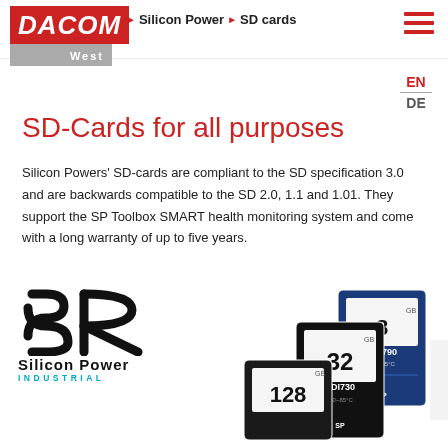DACOM West | Silicon Power > SD cards
SD-Cards for all purposes
Silicon Powers' SD-cards are compliant to the SD specification 3.0 and are backwards compatible to the SD 2.0, 1.1 and 1.01. They support the SP Toolbox SMART health monitoring system and come with a long warranty of up to five years.
[Figure (logo): Silicon Power Industrial logo with SP symbol mark in black and brand name]
[Figure (photo): Three Silicon Power Industrial SD cards: SDI790 (8GB), SDI730 (32GB), and a 128GB card, stacked and overlapping]